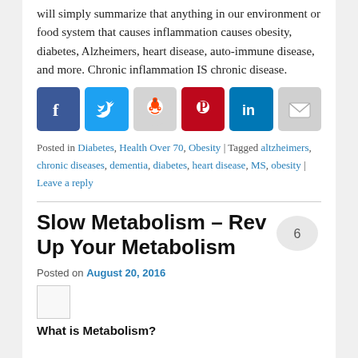will simply summarize that anything in our environment or food system that causes inflammation causes obesity, diabetes, Alzheimers, heart disease, auto-immune disease, and more. Chronic inflammation IS chronic disease.
[Figure (infographic): Row of six social media share buttons: Facebook (blue), Twitter (light blue), Reddit (gray), Pinterest (red), LinkedIn (dark blue), Email (gray)]
Posted in Diabetes, Health Over 70, Obesity | Tagged altzheimers, chronic diseases, dementia, diabetes, heart disease, MS, obesity | Leave a reply
Slow Metabolism – Rev Up Your Metabolism
Posted on August 20, 2016
[Figure (photo): Small image placeholder (thumbnail)]
What is Metabolism?